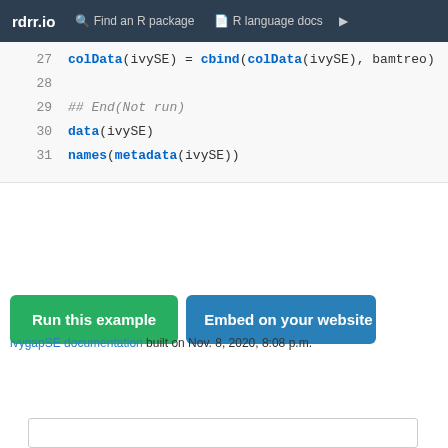rdrr.io   Find an R package   R language docs
[Figure (screenshot): R code block showing lines 27-31 of R code: colData(ivySE) = cbind(colData(ivySE), bamtreo), blank line 28, ## End(Not run), data(ivySE), names(metadata(ivySE))]
Run this example   Embed on your website
ivygapSE documentation built on Nov. 8, 2020, 8:08 p.m.